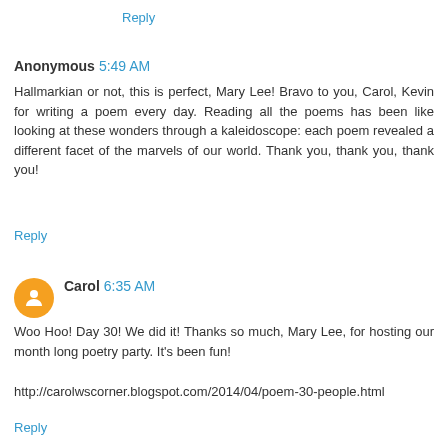Reply
Anonymous 5:49 AM
Hallmarkian or not, this is perfect, Mary Lee! Bravo to you, Carol, Kevin for writing a poem every day. Reading all the poems has been like looking at these wonders through a kaleidoscope: each poem revealed a different facet of the marvels of our world. Thank you, thank you, thank you!
Reply
Carol 6:35 AM
Woo Hoo! Day 30! We did it! Thanks so much, Mary Lee, for hosting our month long poetry party. It's been fun!
http://carolwscorner.blogspot.com/2014/04/poem-30-people.html
Reply